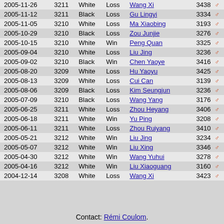| Date | Elo | Color | Result | Opponent | Opp. Elo | Gender |
| --- | --- | --- | --- | --- | --- | --- |
| 2005-11-26 | 3211 | White | Loss | Wang Xi | 3438 | ♂ |
| 2005-11-12 | 3211 | Black | Loss | Gu Lingyi | 3334 | ♂ |
| 2005-11-05 | 3210 | White | Loss | Ma Xiaobing | 3193 | ♂ |
| 2005-10-29 | 3210 | Black | Loss | Zou Junjie | 3276 | ♂ |
| 2005-10-15 | 3210 | White | Win | Peng Quan | 3325 | ♂ |
| 2005-09-04 | 3210 | White | Loss | Liu Jing | 3236 | ♂ |
| 2005-09-02 | 3210 | Black | Win | Chen Yaoye | 3416 | ♂ |
| 2005-08-20 | 3209 | White | Loss | Hu Yaoyu | 3425 | ♂ |
| 2005-08-13 | 3209 | White | Loss | Cui Can | 3139 | ♂ |
| 2005-08-06 | 3209 | Black | Loss | Kim Seungjun | 3236 | ♂ |
| 2005-07-09 | 3210 | Black | Loss | Wang Yang | 3176 | ♂ |
| 2005-06-25 | 3211 | White | Loss | Zhou Heyang | 3406 | ♂ |
| 2005-06-18 | 3211 | White | Win | Yu Ping | 3208 | ♂ |
| 2005-06-11 | 3211 | White | Loss | Zhou Ruiyang | 3410 | ♂ |
| 2005-05-21 | 3212 | White | Win | Liu Jing | 3234 | ♂ |
| 2005-05-07 | 3212 | White | Win | Liu Xing | 3346 | ♂ |
| 2005-04-30 | 3212 | White | Win | Wang Yuhui | 3278 | ♂ |
| 2005-04-16 | 3212 | White | Win | Liu Xiaoguang | 3160 | ♂ |
| 2004-12-14 | 3208 | White | Loss | Wang Xi | 3423 | ♂ |
Contact: Rémi Coulom.